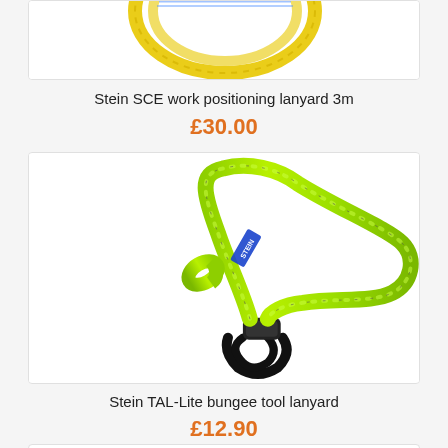[Figure (photo): Partial view of a rope lanyard product (top of page, cropped)]
Stein SCE work positioning lanyard 3m
£30.00
[Figure (photo): Stein TAL-Lite bungee tool lanyard — bright yellow-green rope with black loop end and Stein label]
Stein TAL-Lite bungee tool lanyard
£12.90